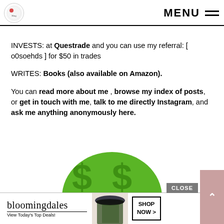MENU
INVESTS: at Questrade and you can use my referral: [ o0soehds ] for $50 in trades
WRITES: Books (also available on Amazon).
You can read more about me , browse my index of posts, or get in touch with me, talk to me directly Instagram, and ask me anything anonymously here.
[Figure (illustration): Green circular graphic with dollar sign symbols, partially visible at bottom of page]
[Figure (screenshot): Bloomingdale's advertisement banner with model in hat, Shop Now button, and Close button]